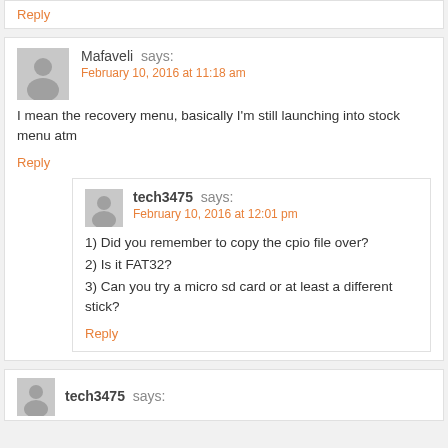Reply
Mafaveli says:
February 10, 2016 at 11:18 am
I mean the recovery menu, basically I'm still launching into stock menu atm
Reply
tech3475 says:
February 10, 2016 at 12:01 pm
1) Did you remember to copy the cpio file over?
2) Is it FAT32?
3) Can you try a micro sd card or at least a different stick?
Reply
tech3475 says: